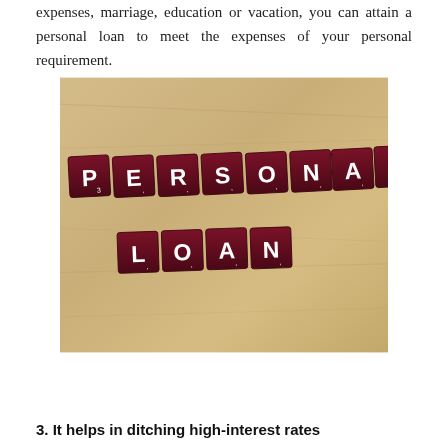expenses, marriage, education or vacation, you can attain a personal loan to meet the expenses of your personal requirement.
[Figure (photo): Photo of Scrabble tiles on a wooden surface spelling 'PERSONAL LOAN' in dark red tiles with white letters arranged in two rows]
3. It helps in ditching high-interest rates